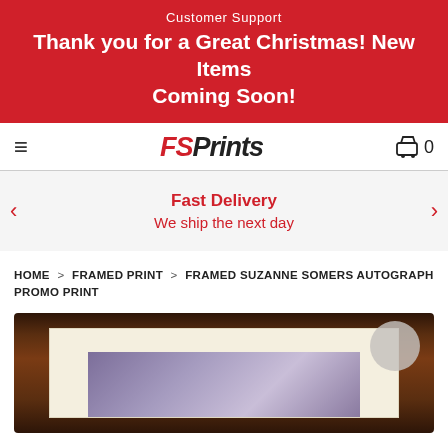Customer Support
Thank you for a Great Christmas! New Items Coming Soon!
[Figure (logo): FSPrints logo with hamburger menu and cart icon showing 0 items]
Fast Delivery
We ship the next day
HOME > FRAMED PRINT > FRAMED SUZANNE SOMERS AUTOGRAPH PROMO PRINT
[Figure (photo): Framed Suzanne Somers autograph promo print in dark brown wood frame with cream mat, photo partially visible]